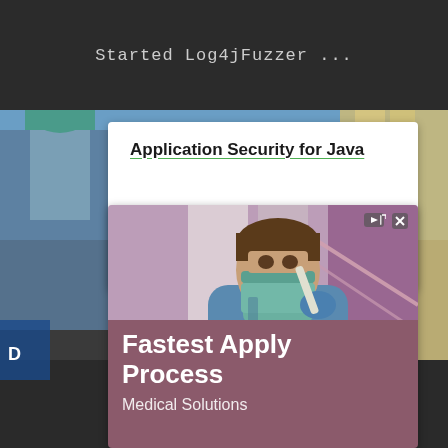[Figure (screenshot): Dark terminal/code editor top bar with monospaced text 'Started Log4jFuzzer ...']
[Figure (screenshot): White ad card popup showing 'Application Security for Java' with green underline, URL www.code-intelligence.com, and blue 'Open >' button]
[Figure (screenshot): Mobile advertisement card with photo of medical worker in scrubs and mask holding a swab, text overlay 'Fastest Apply Process' and 'Medical Solutions' on a mauve/pink background. Ad icons (play/close) visible at top right.]
[Figure (photo): Background outdoor photo of a castle/theme park with blue sky, castle towers, and a decorative lamp post]